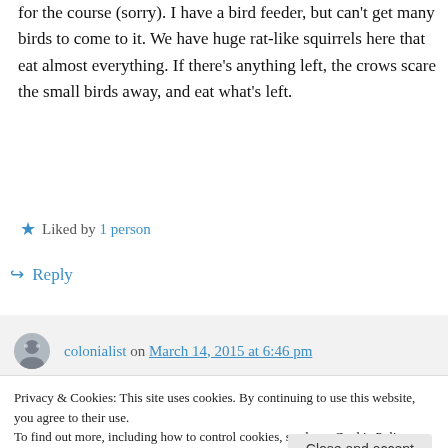for the course (sorry). I have a bird feeder, but can't get many birds to come to it. We have huge rat-like squirrels here that eat almost everything. If there's anything left, the crows scare the small birds away, and eat what's left.
★ Liked by 1 person
↪ Reply
colonialist on March 14, 2015 at 6:46 pm
Privacy & Cookies: This site uses cookies. By continuing to use this website, you agree to their use.
To find out more, including how to control cookies, see here: Cookie Policy
Close and accept